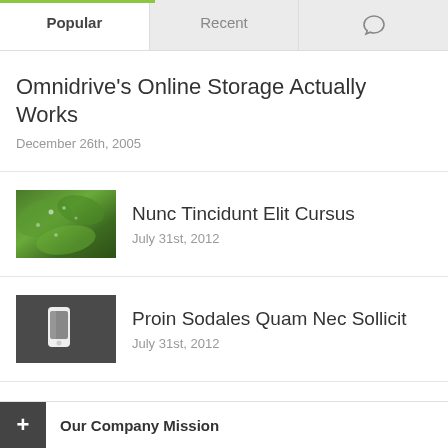Popular | Recent | (comment icon)
Omnidrive's Online Storage Actually Works
December 26th, 2005
[Figure (photo): Thumbnail photo of green leaves with water droplets]
Nunc Tincidunt Elit Cursus
July 31st, 2012
[Figure (photo): Thumbnail photo of a white phone/device on dark background]
Proin Sodales Quam Nec Sollicit
July 31st, 2012
Our Company Mission